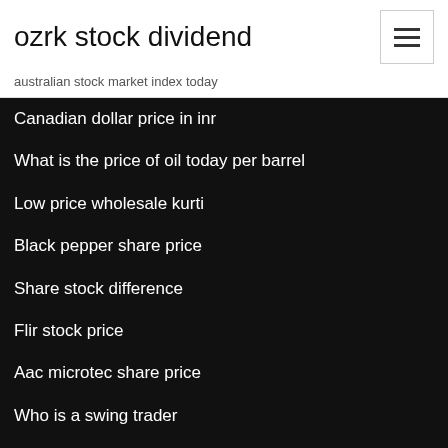ozrk stock dividend
australian stock market index today
Canadian dollar price in inr
What is the price of oil today per barrel
Low price wholesale kurti
Black pepper share price
Share stock difference
Flir stock price
Aac microtec share price
Who is a swing trader
Cardano coin stock
Invest shares child